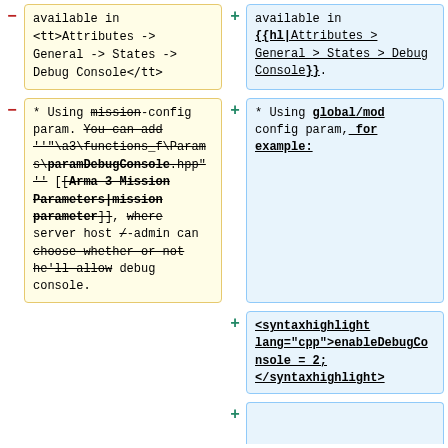- available in <tt>Attributes -> General -> States -> Debug Console</tt>
+ available in {{hl|Attributes > General > States > Debug Console}}.
- * Using mission-config param. You can add ''"\a3\functions_f\Params\paramDebugConsole.hpp" '' [[Arma 3 Mission Parameters|mission parameter]], where server host /-admin can choose whether or not he'll allow debug console.
+ * Using global/mod config param, for example:
+ <syntaxhighlight lang="cpp">enableDebugConsole = 2; </syntaxhighlight>
+